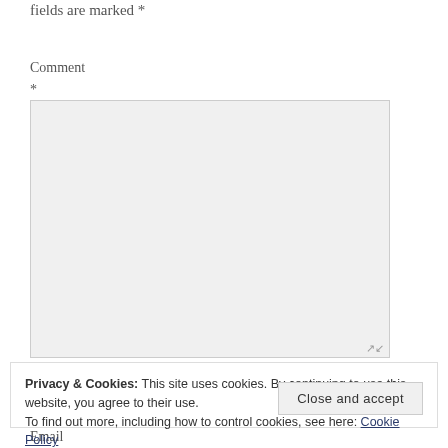fields are marked *
Comment
*
[Figure (other): Empty textarea input box with light gray background and resize handle in bottom-right corner]
Privacy & Cookies: This site uses cookies. By continuing to use this website, you agree to their use.
To find out more, including how to control cookies, see here: Cookie Policy
Close and accept
Email